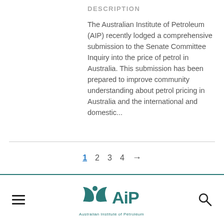DESCRIPTION
The Australian Institute of Petroleum (AIP) recently lodged a comprehensive submission to the Senate Committee Inquiry into the price of petrol in Australia. This submission has been prepared to improve community understanding about petrol pricing in Australia and the international and domestic...
1  2  3  4  →
[Figure (logo): Australian Institute of Petroleum (AIP) logo with stylised circular motif and 'AiP' text, with full name below]